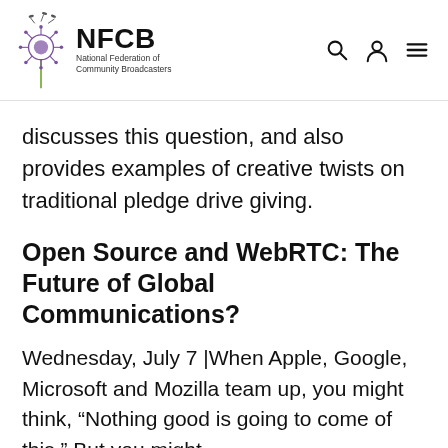[Figure (logo): NFCB - National Federation of Community Broadcasters logo with dandelion graphic]
discusses this question, and also provides examples of creative twists on traditional pledge drive giving.
Open Source and WebRTC: The Future of Global Communications?
Wednesday, July 7 |When Apple, Google, Microsoft and Mozilla team up, you might think, “Nothing good is going to come of this.” But you might